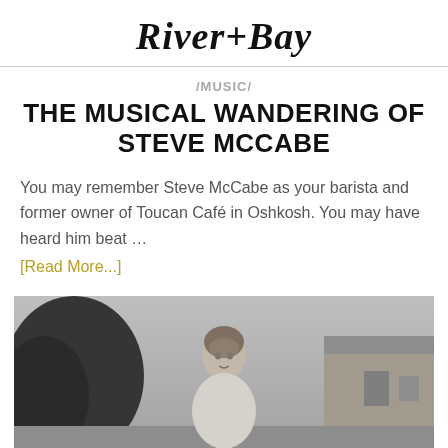River+Bay
/MUSIC/ THE MUSICAL WANDERING OF STEVE MCCABE
You may remember Steve McCabe as your barista and former owner of Toucan Café in Oshkosh. You may have heard him beat … [Read More...]
[Figure (photo): Black and white photograph of a woman standing outdoors with trees and a building in the background]